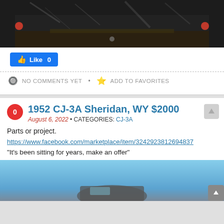[Figure (photo): Top portion of a black metal engine block with chipped paint and two red indicators on sides]
Like 0
NO COMMENTS YET • ADD TO FAVORITES
1952 CJ-3A Sheridan, WY $2000
August 6, 2022 • CATEGORIES: CJ-3A
Parts or project.
https://www.facebook.com/marketplace/item/3242923812694837
“It’s been sitting for years, make an offer”
[Figure (photo): Bottom portion of a Jeep CJ-3A against a blue sky background]